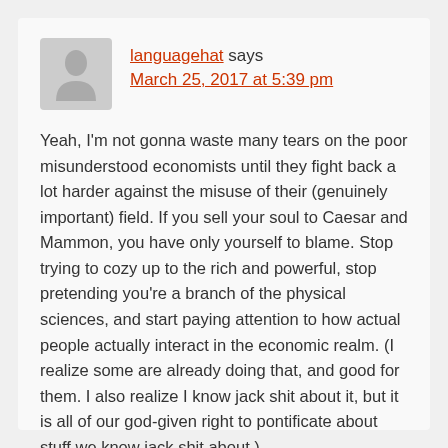languagehat says
March 25, 2017 at 5:39 pm
Yeah, I'm not gonna waste many tears on the poor misunderstood economists until they fight back a lot harder against the misuse of their (genuinely important) field. If you sell your soul to Caesar and Mammon, you have only yourself to blame. Stop trying to cozy up to the rich and powerful, stop pretending you're a branch of the physical sciences, and start paying attention to how actual people actually interact in the economic realm. (I realize some are already doing that, and good for them. I also realize I know jack shit about it, but it is all of our god-given right to pontificate about stuff we know jack shit about.)